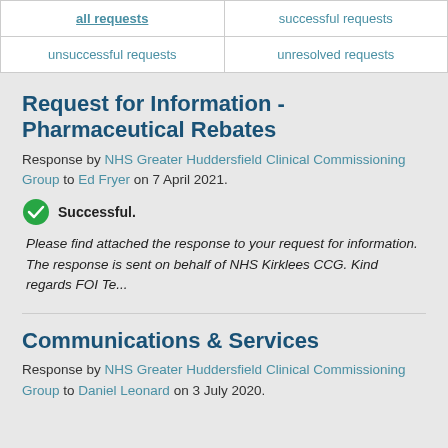| all requests | successful requests |
| --- | --- |
| unsuccessful requests | unresolved requests |
Request for Information - Pharmaceutical Rebates
Response by NHS Greater Huddersfield Clinical Commissioning Group to Ed Fryer on 7 April 2021.
Successful.
Please find attached the response to your request for information. The response is sent on behalf of NHS Kirklees CCG. Kind regards FOI Te...
Communications & Services
Response by NHS Greater Huddersfield Clinical Commissioning Group to Daniel Leonard on 3 July 2020.